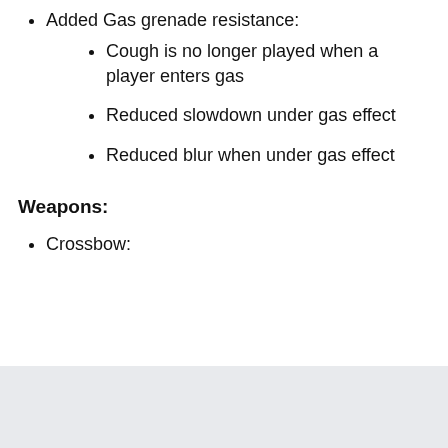Added Gas grenade resistance:
Cough is no longer played when a player enters gas
Reduced slowdown under gas effect
Reduced blur when under gas effect
Weapons:
Crossbow: